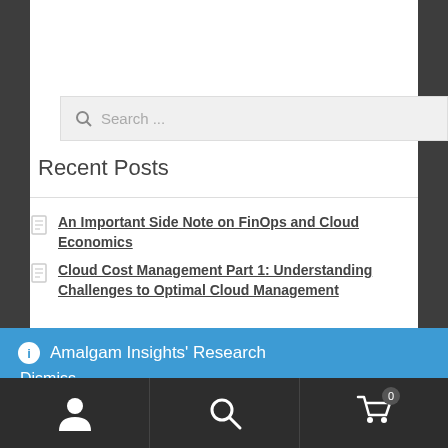[Figure (screenshot): Search bar with magnifying glass icon and placeholder text 'Search ...']
Recent Posts
An Important Side Note on FinOps and Cloud Economics
Cloud Cost Management Part 1: Understanding Challenges to Optimal Cloud Management
ⓘ Amalgam Insights' Research
Dismiss
[Figure (screenshot): Bottom navigation toolbar with user/person icon, search icon, and shopping cart icon with badge showing 0]